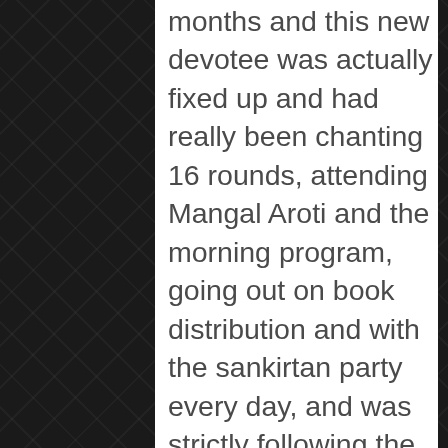months and this new devotee was actually fixed up and had really been chanting 16 rounds, attending Mangal Aroti and the morning program, going out on book distribution and with the sankirtan party every day, and was strictly following the regulative principles, then he would agree to initiate.